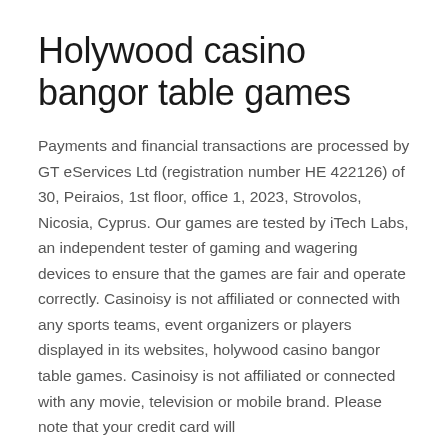Holywood casino bangor table games
Payments and financial transactions are processed by GT eServices Ltd (registration number HE 422126) of 30, Peiraios, 1st floor, office 1, 2023, Strovolos, Nicosia, Cyprus. Our games are tested by iTech Labs, an independent tester of gaming and wagering devices to ensure that the games are fair and operate correctly. Casinoisy is not affiliated or connected with any sports teams, event organizers or players displayed in its websites, holywood casino bangor table games. Casinoisy is not affiliated or connected with any movie, television or mobile brand. Please note that your credit card will